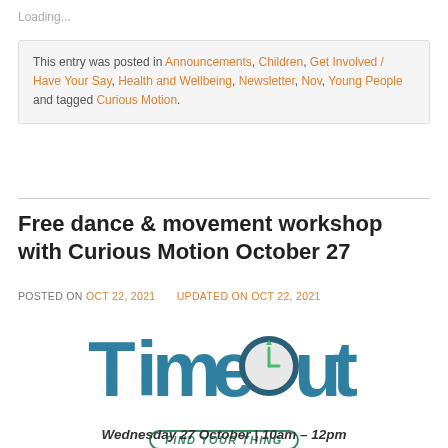Loading...
This entry was posted in Announcements, Children, Get Involved / Have Your Say, Health and Wellbeing, Newsletter, Nov, Young People and tagged Curious Motion.
Free dance & movement workshop with Curious Motion October 27
POSTED ON OCT 22, 2021   UPDATED ON OCT 22, 2021
[Figure (logo): TimeOut logo with clock in the O and tagline FIND YOUR THING below]
Wednesday 27 October | 10am – 12pm